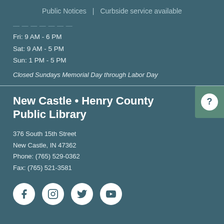Public Notices  |  Curbside service available
Fri: 9 AM - 6 PM
Sat: 9 AM - 5 PM
Sun: 1 PM - 5 PM
Closed Sundays Memorial Day through Labor Day
New Castle • Henry County Public Library
376 South 15th Street
New Castle, IN 47362
Phone: (765) 529-0362
Fax: (765) 521-3581
[Figure (illustration): Social media icons: Facebook, Instagram, Twitter, YouTube — white circles on teal background]